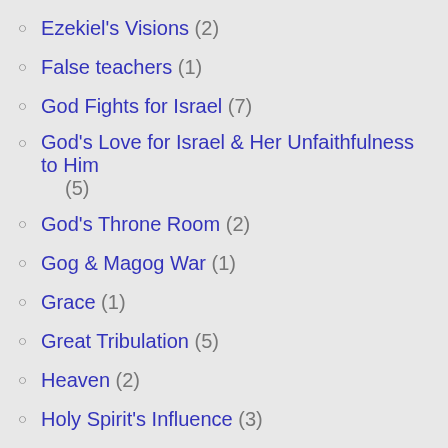Ezekiel's Visions (2)
False teachers (1)
God Fights for Israel (7)
God's Love for Israel & Her Unfaithfulness to Him (5)
God's Throne Room (2)
Gog & Magog War (1)
Grace (1)
Great Tribulation (5)
Heaven (2)
Holy Spirit's Influence (3)
Honoring Dr. Couch (1)
Islam (1)
Israel's Return to the Land (13)
Israelology (6)
Jerusalem (3)
Jesus Arrival in Bethlehem (1)
Jesus' First Advent (3)
Jewish Festivals (1)